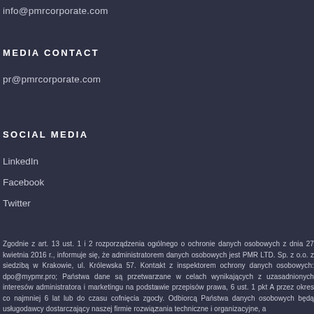info@pmrcorporate.com
MEDIA CONTACT
pr@pmrcorporate.com
SOCIAL MEDIA
LinkedIn
Facebook
Twitter
Zgodnie z art. 13 ust. 1 i 2 rozporządzenia ogólnego o ochronie danych osobowych z dnia 27 kwietnia 2016 r., informuje się, że administratorem danych osobowych jest PMR LTD. Sp. z o.o. z siedzibą w Krakowie, ul. Królewska 57. Kontakt z inspektorem ochrony danych osobowych: dpo@mypmr.pro; Państwa dane są przetwarzane w celach wynikających z uzasadnionych interesów administratora i marketingu na podstawie przepisów prawa, 6 ust. 1 pkt A przez okres co najmniej 6 lat lub do czasu cofnięcia zgody. Odbiorcą Państwa danych osobowych będą usługodawcy dostarczający naszej firmie rozwiązania techniczne i organizacyjne, a